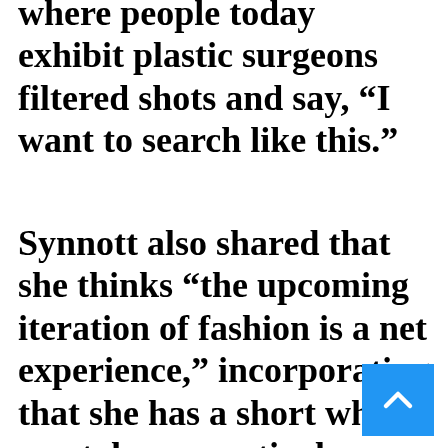where people today exhibit plastic surgeons filtered shots and say, “I want to search like this.”
Synnott also shared that she thinks “the upcoming iteration of fashion is a net experience,” incorporating that she has a short while ago taken a particular